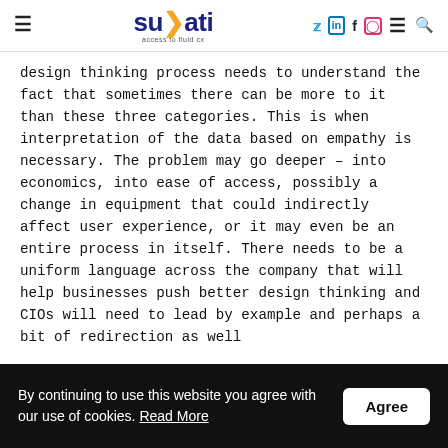suyati — access to fluid cx
design thinking process needs to understand the fact that sometimes there can be more to it than these three categories. This is when interpretation of the data based on empathy is necessary. The problem may go deeper – into economics, into ease of access, possibly a change in equipment that could indirectly affect user experience, or it may even be an entire process in itself. There needs to be a uniform language across the company that will help businesses push better design thinking and CIOs will need to lead by example and perhaps a bit of redirection as well
By continuing to use this website you agree with our use of cookies. Read More  Agree